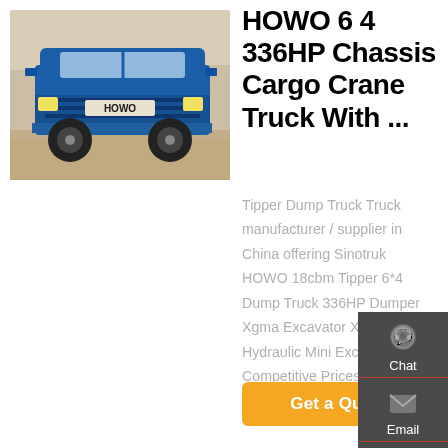[Figure (photo): Blue HOWO truck front view on sandy ground]
HOWO 6 4 336HP Chassis Cargo Crane Truck With ...
Tipper Dump Truck Truck manufacturer / supplier in China offering Sinotruk HOWO 18cbm Tipper 6*4 Dump Truck 336HP Dumper Xgma Excavator Xg822 22ton Hydraulic Mini Excavator with Competitive Prices Lt70 Ton Crawler Excavator Buc Mini
[Figure (infographic): Sidebar with Chat, Email, Contact, Top navigation icons on dark gray background]